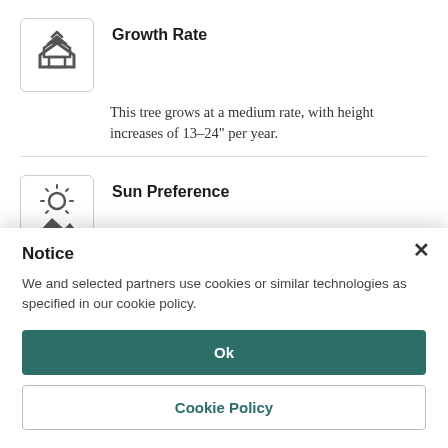Growth Rate
This tree grows at a medium rate, with height increases of 13–24" per year.
Sun Preference
Full sun and partial shade are best for this tree
Notice
We and selected partners use cookies or similar technologies as specified in our cookie policy.
Ok
Cookie Policy